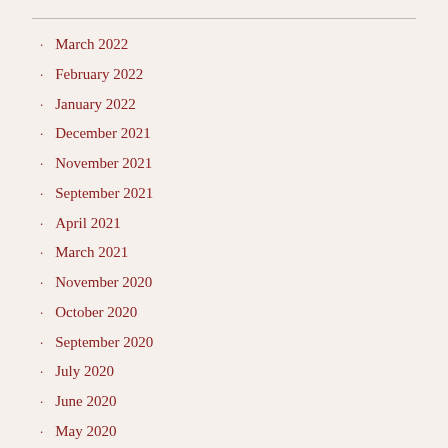March 2022
February 2022
January 2022
December 2021
November 2021
September 2021
April 2021
March 2021
November 2020
October 2020
September 2020
July 2020
June 2020
May 2020
April 2020
February 2020
January 2020